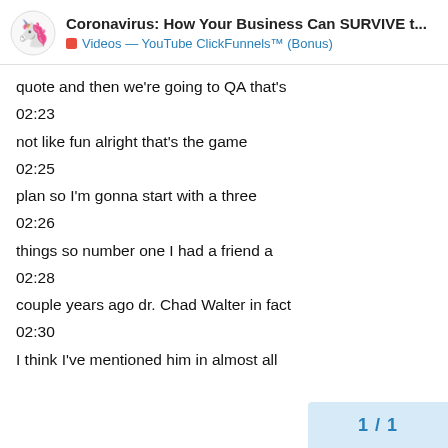Coronavirus: How Your Business Can SURVIVE t... | Videos — YouTube ClickFunnels™ (Bonus)
quote and then we're going to QA that's
02:23
not like fun alright that's the game
02:25
plan so I'm gonna start with a three
02:26
things so number one I had a friend a
02:28
couple years ago dr. Chad Walter in fact
02:30
I think I've mentioned him in almost all
1 / 1